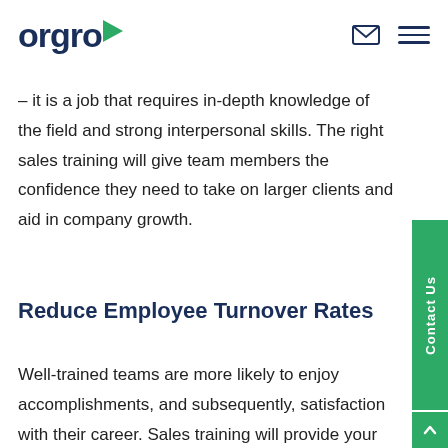orgro
– it is a job that requires in-depth knowledge of the field and strong interpersonal skills. The right sales training will give team members the confidence they need to take on larger clients and aid in company growth.
Reduce Employee Turnover Rates
Well-trained teams are more likely to enjoy accomplishments, and subsequently, satisfaction with their career. Sales training will provide your organisation's representatives with better empowerment and support